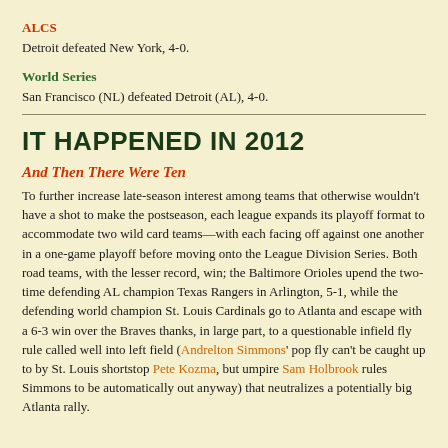ALCS
Detroit defeated New York, 4-0.
World Series
San Francisco (NL) defeated Detroit (AL), 4-0.
IT HAPPENED IN 2012
And Then There Were Ten
To further increase late-season interest among teams that otherwise wouldn't have a shot to make the postseason, each league expands its playoff format to accommodate two wild card teams—with each facing off against one another in a one-game playoff before moving onto the League Division Series. Both road teams, with the lesser record, win; the Baltimore Orioles upend the two-time defending AL champion Texas Rangers in Arlington, 5-1, while the defending world champion St. Louis Cardinals go to Atlanta and escape with a 6-3 win over the Braves thanks, in large part, to a questionable infield fly rule called well into left field (Andrelton Simmons' pop fly can't be caught up to by St. Louis shortstop Pete Kozma, but umpire Sam Holbrook rules Simmons to be automatically out anyway) that neutralizes a potentially big Atlanta rally.